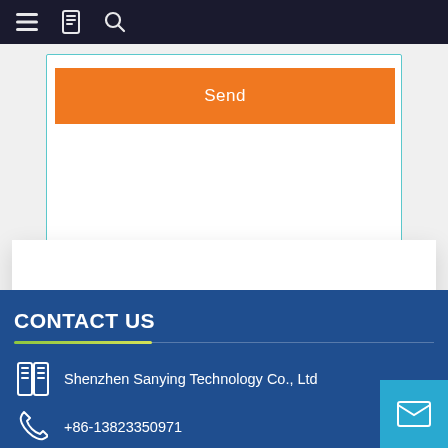Navigation bar with menu, document, and search icons
[Figure (screenshot): Orange Send button inside a bordered form box on a light grey background]
CONTACT US
Shenzhen Sanying Technology Co., Ltd
+86-13823350971